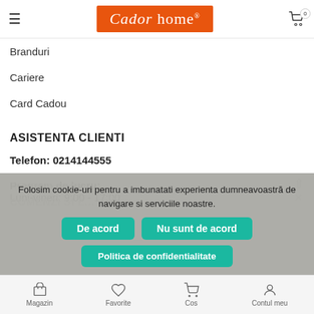Cador home
Branduri
Cariere
Card Cadou
ASISTENTA CLIENTI
Telefon: 0214144555
Program de lucru:
Luni-vineri: 9:00 - 17:00
Trimite un mesaj:
COMENZI SI L...
Folosim cookie-uri pentru a imbunatati experienta dumneavoastră de navigare si serviciile noastre.
De acord | Nu sunt de acord | Politica de confidentialitate
Magazin | Favorite | Cos | Contul meu